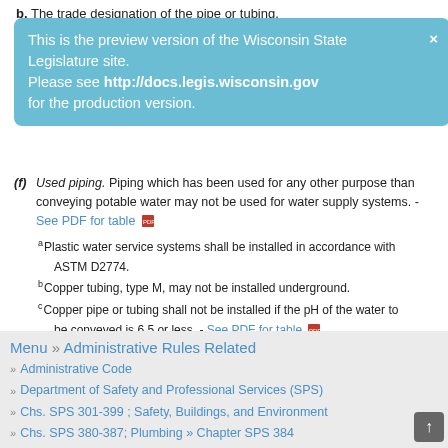b. The trade designation of the pipe or tubing.
This is the preview version of the Wisconsin State Legislature site. Please see http://docs.legis.wisconsin.gov for the production version.
(f) Used piping. Piping which has been used for any other purpose than conveying potable water may not be used for water supply systems. - See PDF for table
aPlastic water service systems shall be installed in accordance with ASTM D2774.
bCopper tubing, type M, may not be installed underground.
cCopper pipe or tubing shall not be installed if the pH of the water to be conveyed is 6.5 or less. - See PDF for table
aPlastic pipe and tubing installed underground shall be in accordance with ASTM D2774.
bCopper tubing, type M, may not be installed underground.
Menu » Administrative Rules Related » Administrative Code » Department of Safety and Professional Services (SPS) » Chs. SPS 301-399 ; Safety, Buildings, and Environment » Chs. SPS 380-387; Plumbing » Chapter SPS 384